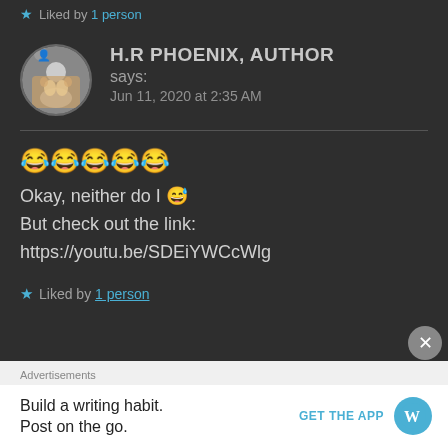★ Liked by 1 person
H.R PHOENIX, AUTHOR says: Jun 11, 2020 at 2:35 AM
😂😂😂😂😂
Okay, neither do I 😅
But check out the link:
https://youtu.be/SDEiYWCcWlg
★ Liked by 1 person
Advertisements
Build a writing habit.
Post on the go.
GET THE APP